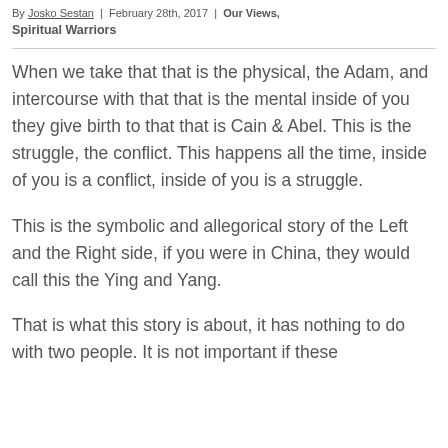By Josko Sestan | February 28th, 2017 | Our Views, Spiritual Warriors
When we take that that is the physical, the Adam, and intercourse with that that is the mental inside of you they give birth to that that is Cain & Abel. This is the struggle, the conflict. This happens all the time, inside of you is a conflict, inside of you is a struggle.
This is the symbolic and allegorical story of the Left and the Right side, if you were in China, they would call this the Ying and Yang.
That is what this story is about, it has nothing to do with two people. It is not important if these